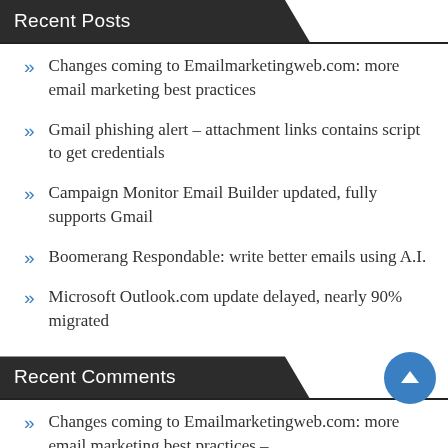Recent Posts
Changes coming to Emailmarketingweb.com: more email marketing best practices
Gmail phishing alert – attachment links contains script to get credentials
Campaign Monitor Email Builder updated, fully supports Gmail
Boomerang Respondable: write better emails using A.I.
Microsoft Outlook.com update delayed, nearly 90% migrated
Recent Comments
Changes coming to Emailmarketingweb.com: more email marketing best practices –